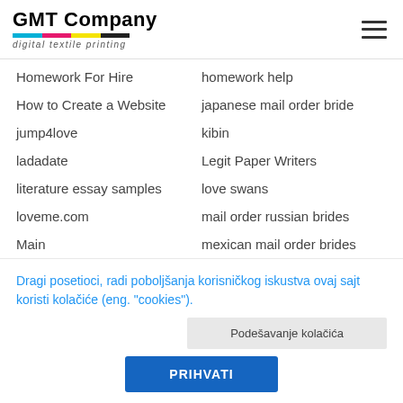GMT Company — digital textile printing
Homework For Hire
homework help
How to Create a Website
japanese mail order bride
jump4love
kibin
ladadate
Legit Paper Writers
literature essay samples
love swans
loveme.com
mail order russian brides
Main
mexican mail order brides
Dragi posetioci, radi poboljšanja korisničkog iskustva ovaj sajt koristi kolačiće (eng. "cookies").
Podešavanje kolačića
PRIHVATI